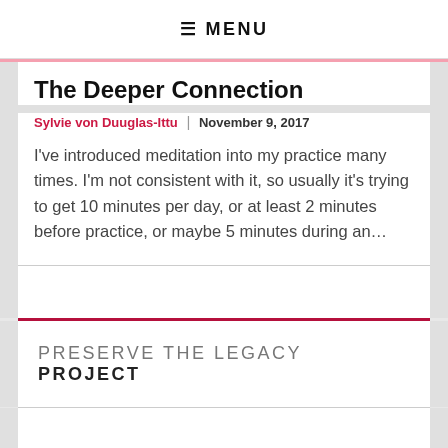☰ MENU
The Deeper Connection
Sylvie von Duuglas-Ittu  |  November 9, 2017
I've introduced meditation into my practice many times. I'm not consistent with it, so usually it's trying to get 10 minutes per day, or at least 2 minutes before practice, or maybe 5 minutes during an...
PRESERVE THE LEGACY PROJECT